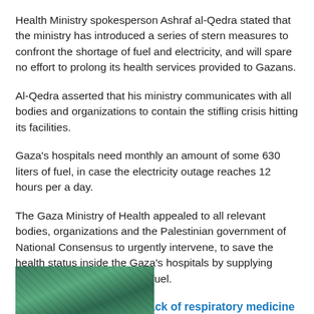Health Ministry spokesperson Ashraf al-Qedra stated that the ministry has introduced a series of stern measures to confront the shortage of fuel and electricity, and will spare no effort to prolong its health services provided to Gazans.
Al-Qedra asserted that his ministry communicates with all bodies and organizations to contain the stifling crisis hitting its facilities.
Gaza's hospitals need monthly an amount of some 630 liters of fuel, in case the electricity outage reaches 12 hours per a day.
The Gaza Ministry of Health appealed to all relevant bodies, organizations and the Palestinian government of National Consensus to urgently intervene, to save the health status inside the Gaza's hospitals by supplying them the needed amount of fuel.
Infant dies in Gaza from lack of respiratory medicine because of Israeli siege
[Figure (photo): Partial photo strip showing a person, partially visible at the bottom of the page]